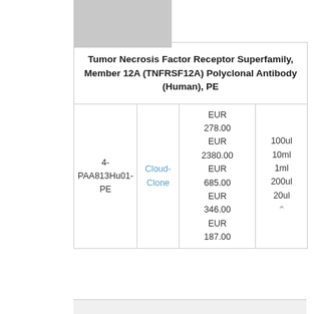Tumor Necrosis Factor Receptor Superfamily, Member 12A (TNFRSF12A) Polyclonal Antibody (Human), PE
| SKU | Brand | Price | Size |
| --- | --- | --- | --- |
| 4-PAA813Hu01-PE | Cloud-Clone | EUR 278.00
EUR 2380.00
EUR 685.00
EUR 346.00
EUR 187.00 | 100ul
10ml
1ml
200ul
20ul |